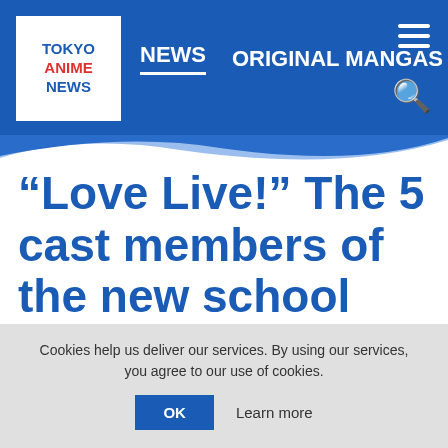TOKYO ANIME NEWS | NEWS | ORIGINAL MANGAS
“Love Live!” The 5 cast members of the new school idol “Liella!” and release of debut single have been announced!
Cookies help us deliver our services. By using our services, you agree to our use of cookies.